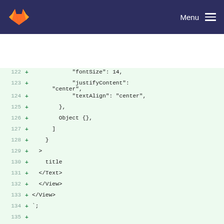GitLab — Menu
[Figure (screenshot): Code diff view showing lines 122-138 with added lines (green +) containing React Native JSX code including fontSize, justifyContent, textAlign properties, Object, View/Text components, and exports template literal for Button component test]
122  +              "fontSize": 14,
123  +              "justifyContent": "center",
124  +              "textAlign": "center",
125  +          },
126  +          Object {},
127  +        ]
128  +      }
129  +    >
130  +      title
131  +    </Text>
132  +  </View>
133  + </View>
134  + `;
135  +
136  + exports[`Button component renders title correctly on Android 1`] = `
137  + <View
138  +   accessibilityComponentType= {undefined}